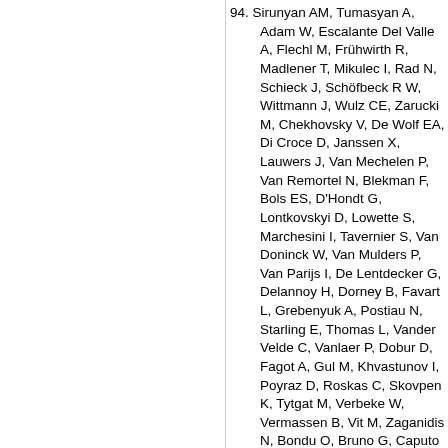94. Sirunyan AM, Tumasyan A, Adam W, Escalante Del Valle A, Flechl M, Frühwirth R, Madlener T, Mikulec I, Rad N, Schieck J, Schöfbeck R W, Wittmann J, Wulz CE, Zarucki M, Chekhovsky V, De Wolf EA, Di Croce D, Janssen X, Lauwers J, Van Mechelen P, Van Remortel N, Blekman F, Bols ES, D'Hondt G, Lontkovskyi D, Lowette S, Marchesini I, Tavernier S, Van Doninck W, Van Mulders P, Van Parijs I, De Lentdecker G, Delannoy H, Dorney B, Favart L, Grebenyuk A, Postiau N, Starling E, Thomas L, Vander Velde C, Vanlaer P, Dobur D, Fagot A, Gul M, Khvastunov I, Poyraz D, Roskas C, Skovpen K, Tytgat M, Verbeke W, Vermassen B, Vit M, Zaganidis N, Bondu O, Bruno G, Caputo C, David P, Giammanco A, Krintiras G, Lemaitre V, Magitteri A, Mertens A, Musich M, Vidal Marono M, Vischia P, Zobec J, Alves FL, Alves GA, Brito L, Correa Martins Junior M, Rebello Teles P, Belchior Batista Das Chagas E, Carvalho W, Chinellato J, Coelho EM, Da Silveira GG, De Jesus Damiao D, De Souza SF, Fonseca De Lima C, Malbouisson H, Matos Figueiredo D, Matos Figueiredo D, Melo De Almeida M, Mora Herrera C, Mundim L, Nogima H, Sanchez Rosas LJ, Santoro A, Sznajder A, Thiel M, Tonelli Manganote EJ, Torres Da Silva De Araujo F, Vilela Pereira A, Ahuja S, Bernardes CA, Calligaris L, Tomei TRFP, Gregores EM, Mercadante PG, Moon CS, Novaes SF, Padula SS, Abad D, Hadjiiska R, Iaydjiev P, Marinov A, Misheva M, Rodozov M, Shopova M, Sultanov G, Litov L, Pavlov B, Petkov P, Fang W, Gao X, Gao X, Li D, Qian SJ, Jiang CH, Leggat D, Liao H, Liu Z, Shaheen SM, Spiezia A, Tao J, Wang C, Zhao J, Ban Y, Chen G, Li J, Li L, Liu Q, Mao Y, Qian SJ, Chaparro Sierra LF, Florez C, Gonzalez Hernandez CF, Ruiz Alvarez JD, Giljanovic D, Godinovic N, Lelas D, Puljak I, Brigljevic V, Ferencek D, Kadija K, Mesic B, Starodumov A, Susa T, Ather MW, Attikis A, Erodotou E, Ioannou A, Kolosova M, ...